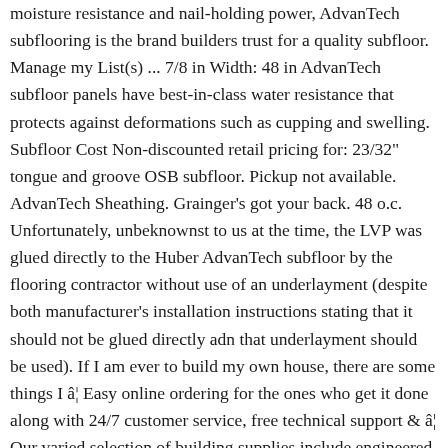moisture resistance and nail-holding power, AdvanTech subflooring is the brand builders trust for a quality subfloor. Manage my List(s) ... 7/8 in Width: 48 in AdvanTech subfloor panels have best-in-class water resistance that protects against deformations such as cupping and swelling. Subfloor Cost Non-discounted retail pricing for: 23/32" tongue and groove OSB subfloor. Pickup not available. AdvanTech Sheathing. Grainger's got your back. 48 o.c. Unfortunately, unbeknownst to us at the time, the LVP was glued directly to the Huber AdvanTech subfloor by the flooring contractor without use of an underlayment (despite both manufacturer's installation instructions stating that it should not be glued directly adn that underlayment should be used). If I am ever to build my own house, there are some things I â¦ Easy online ordering for the ones who get it done along with 24/7 customer service, free technical support & â¦ Our varied selection of building supplies include engineered wood products suitable for subfloors and underlay structures. Average Rating: (0.0)